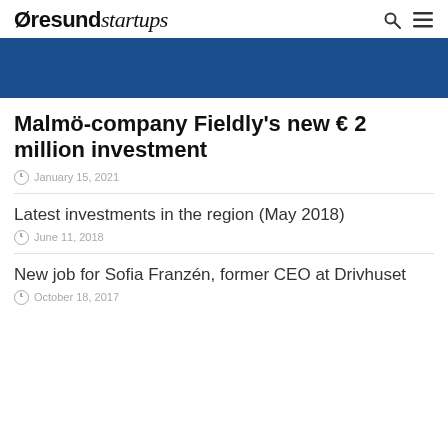Øresundstartups
[Figure (other): Blue banner image strip]
Malmö-company Fieldly's new € 2 million investment
January 15, 2021
Latest investments in the region (May 2018)
June 11, 2018
New job for Sofia Franzén, former CEO at Drivhuset
October 18, 2017